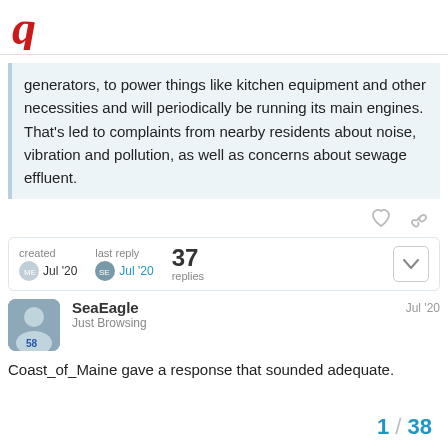Forum logo header
generators, to power things like kitchen equipment and other necessities and will periodically be running its main engines. That's led to complaints from nearby residents about noise, vibration and pollution, as well as concerns about sewage effluent.
created Jul '20  last reply Jul '20  37 replies
SeaEagle
Just Browsing
Jul '20
Coast_of_Maine gave a response that sounded adequate.
1 / 38